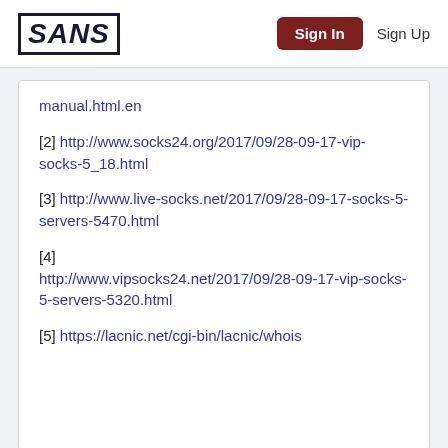SANS | Sign In | Sign Up
manual.html.en
[2] http://www.socks24.org/2017/09/28-09-17-vip-socks-5_18.html
[3] http://www.live-socks.net/2017/09/28-09-17-socks-5-servers-5470.html
[4] http://www.vipsocks24.net/2017/09/28-09-17-vip-socks-5-servers-5320.html
[5] https://lacnic.net/cgi-bin/lacnic/whois